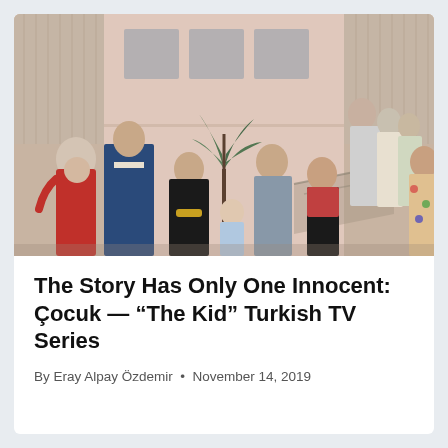[Figure (photo): Cast photo of the Turkish TV series Çocuk (The Kid), featuring approximately 10 actors posed in front of a pink building with shuttered windows and a palm plant. Characters include a woman in red, a man in a blue suit, a woman in black with a belt, a small child in light blue, a man in a grey shirt, a woman in a red top, a man in glasses, two younger women in the back, and a woman in a floral dress on the right.]
The Story Has Only One Innocent: Çocuk — “The Kid” Turkish TV Series
By Eray Alpay Özdemir • November 14, 2019